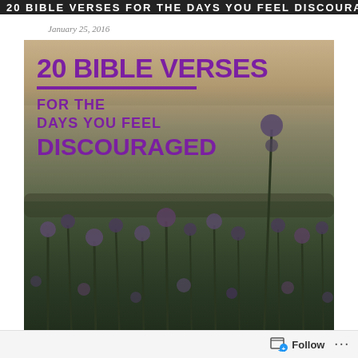20 BIBLE VERSES FOR THE DAYS YOU FEEL DISCOURAGED
January 25, 2016
[Figure (photo): A photograph of purple wildflowers/thistles in a field at dusk with a hazy warm sky, overlaid with bold purple text reading '20 BIBLE VERSES FOR THE DAYS YOU FEEL DISCOURAGED' with a purple horizontal rule divider]
Follow